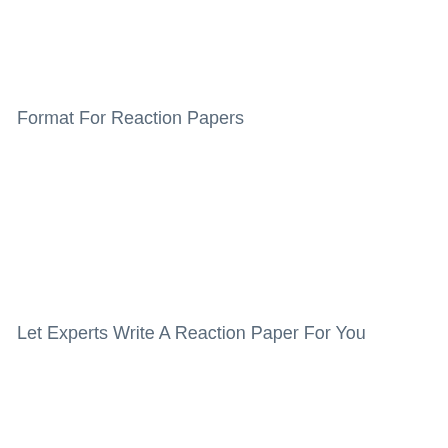Format For Reaction Papers
Let Experts Write A Reaction Paper For You